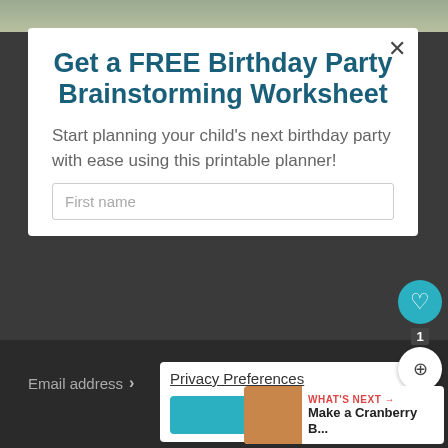[Figure (screenshot): Website screenshot with a modal popup dialog offering a free birthday party brainstorming worksheet, with a privacy preferences cookie consent overlay, heart/share widget, and What's Next panel.]
Get a FREE Birthday Party Brainstorming Worksheet
Start planning your child's next birthday party with ease using this printable planner!
First name
Email address
Privacy Preferences
I Agree
1
WHAT'S NEXT → Make a Cranberry B...